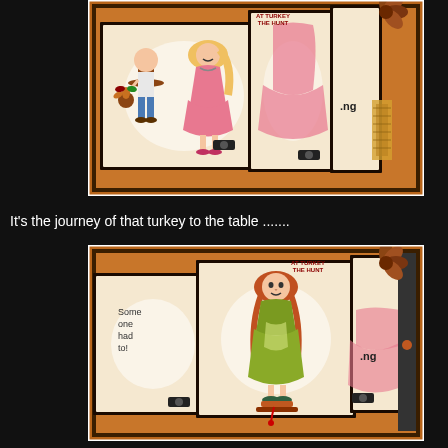[Figure (photo): Handmade craft card on orange textured background with black borders. Shows two cartoon characters (a boy with a turkey and a girl in pink dress) on layered card panels. Decorative flower embellishment in upper right corner.]
It's the journey of that turkey to the table .......
[Figure (photo): Handmade craft card on orange textured background with black borders. Shows layered card panels with a girl in green dress on a stand, text reading 'Some one had to!', and decorative flower embellishment in upper right corner.]